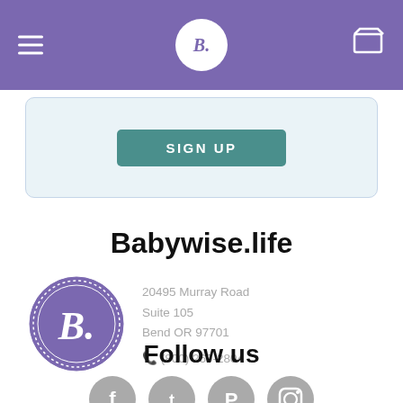B. (Babywise.life) navigation header with hamburger menu and cart icon
[Figure (screenshot): SIGN UP button in teal on light blue background with rounded border]
Babywise.life
[Figure (logo): Babywise.life circular logo with letter B and dotted border in purple, beside address: 20495 Murray Road, Suite 105, Bend OR 97701, phone (800) 269-2804]
Follow us
[Figure (infographic): Social media icons: Facebook, Twitter, Pinterest, Instagram in gray circles]